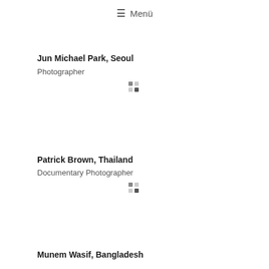≡ Menü
Jun Michael Park, Seoul
Photographer
[Figure (other): Loading spinner dots icon]
Patrick Brown, Thailand
Documentary Photographer
[Figure (other): Loading spinner dots icon]
Munem Wasif, Bangladesh